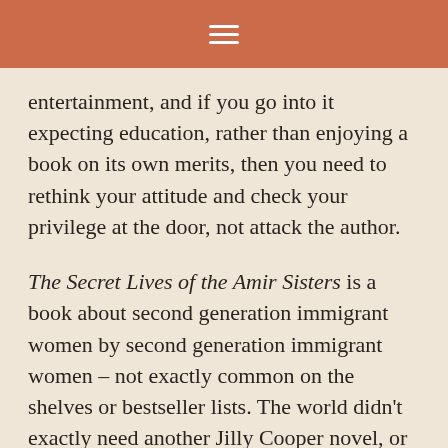☰
entertainment, and if you go into it expecting education, rather than enjoying a book on its own merits, then you need to rethink your attitude and check your privilege at the door, not attack the author.
The Secret Lives of the Amir Sisters is a book about second generation immigrant women by second generation immigrant women – not exactly common on the shelves or bestseller lists. The world didn't exactly need another Jilly Cooper novel, or another James Patterson – but, because books are NOT the zero-sum game the reviewer claims, we got them. Here's a thing: maybe this book isn't for you. Shocker, I know, but not everyone wants to read the same books. Not everyone looks like you or enjoys the same things you do. Not every book is published with you as the intended reader.